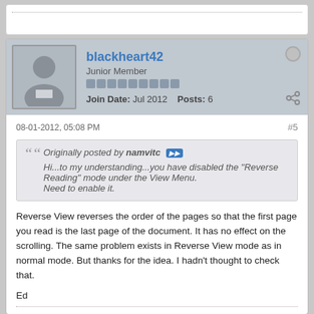blackheart42
Junior Member
Join Date: Jul 2012   Posts: 6
08-01-2012, 05:08 PM
#5
Originally posted by namvitc
Hi...to my understanding...you have disabled the "Reverse Reading" mode under the View Menu.
Need to enable it.
Reverse View reverses the order of the pages so that the first page you read is the last page of the document. It has no effect on the scrolling. The same problem exists in Reverse View mode as in normal mode. But thanks for the idea. I hadn't thought to check that.

Ed
blackheart42